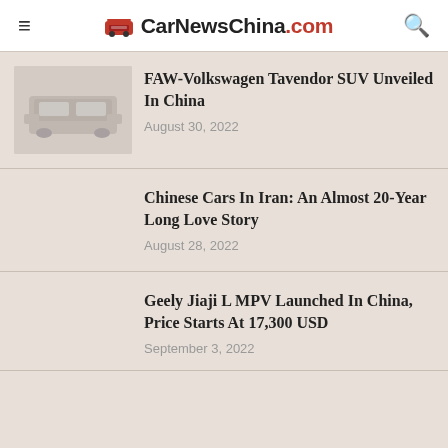CarNewsChina.com
FAW-Volkswagen Tavendor SUV Unveiled In China
August 30, 2022
Chinese Cars In Iran: An Almost 20-Year Long Love Story
August 28, 2022
Geely Jiaji L MPV Launched In China, Price Starts At 17,300 USD
September 3, 2022